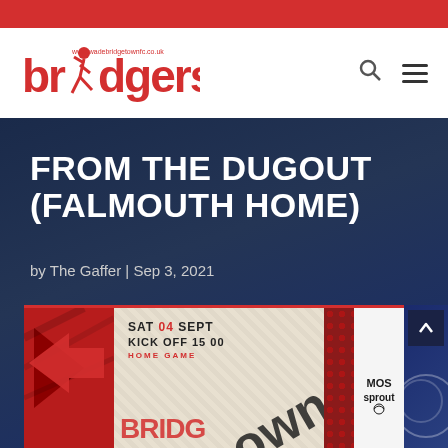bridgers - www.wadebridgetownfc.co.uk
FROM THE DUGOUT (FALMOUTH HOME)
by The Gaffer | Sep 3, 2021
[Figure (infographic): Match day graphic showing SAT 04 SEPT KICK OFF 15 00 HOME GAME with Bridgwater Town FC branding and MOS Sprout sponsor logo]